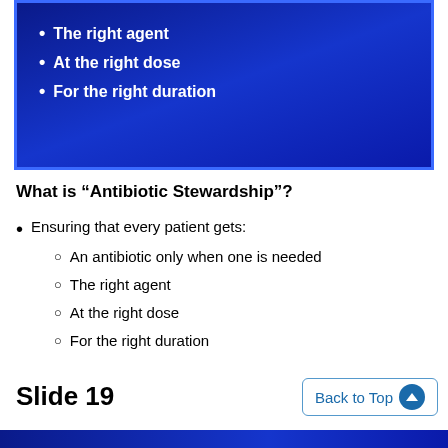[Figure (screenshot): Blue slide panel showing bulleted list: 'The right agent', 'At the right dose', 'For the right duration' in white text on dark blue background]
What is “Antibiotic Stewardship”?
Ensuring that every patient gets:
An antibiotic only when one is needed
The right agent
At the right dose
For the right duration
Slide 19
Back to Top